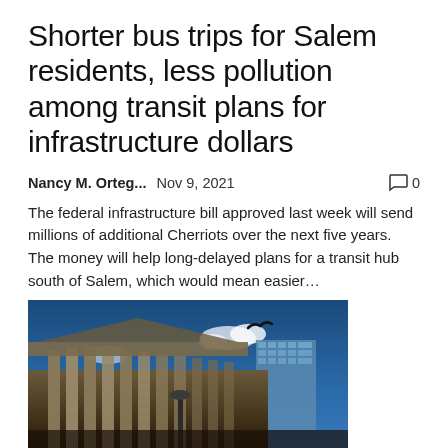Shorter bus trips for Salem residents, less pollution among transit plans for infrastructure dollars
Nancy M. Orteg...   Nov 9, 2021   💬 0
The federal infrastructure bill approved last week will send millions of additional Cherriots over the next five years. The money will help long-delayed plans for a transit hub south of Salem, which would mean easier...
[Figure (photo): Low-angle photograph of a large classical stone building with columns against a blue sky, with a bird silhouette flying above and a modern glass building visible in the background.]